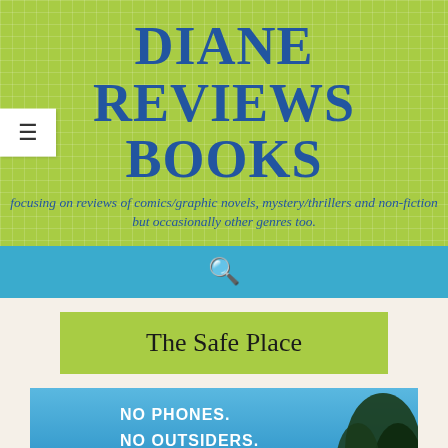DIANE REVIEWS BOOKS
focusing on reviews of comics/graphic novels, mystery/thrillers and non-fiction but occasionally other genres too.
The Safe Place
[Figure (photo): Book cover for 'The Safe Place' showing a blue sky background with text: NO PHONES. NO OUTSIDERS. NO ESCAPE. Tree silhouette on the right side and a lighthouse on the left.]